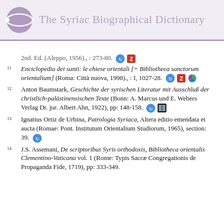The Syriac Biographical Dictionary
2nd. Ed. (Aleppo, 1956)., : 273-80.
11  Enciclopedia dei santi: le chiese orientali [= Bibliotheca sanctorum orientalium] (Roma: Città nuova, 1998)., : I, 1027-28.
12  Anton Baumstark, Geschichte der syrischen Literatur mit Ausschluß der christlich-palästinensischen Texte (Bonn: A. Marcus und E. Webers Verlag Dr. jur. Albert Ahn, 1922), pp: 148-158.
13  Ignatius Ortiz de Urbina, Patrologia Syriaca, Altera editio emendata et aucta (Romae: Pont. Institutum Orientalium Studiorum, 1965), section: 39.
14  J.S. Assemani, De scriptoribus Syris orthodoxis, Bibliotheca orientalis Clementino-Vaticana vol. 1 (Rome: Typis Sacræ Congregationis de Propaganda Fide, 1719), pp: 333-349.